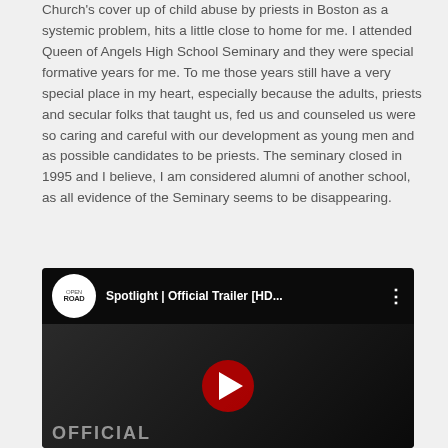Church's cover up of child abuse by priests in Boston as a systemic problem, hits a little close to home for me. I attended Queen of Angels High School Seminary and they were special formative years for me. To me those years still have a very special place in my heart, especially because the adults, priests and secular folks that taught us, fed us and counseled us were so caring and careful with our development as young men and as possible candidates to be priests. The seminary closed in 1995 and I believe, I am considered alumni of another school, as all evidence of the Seminary seems to be disappearing.
[Figure (screenshot): YouTube video embed showing 'Spotlight | Official Trailer [HD...' by Open Road channel, with a dark thumbnail background, red play button in center, and 'OFFICIAL' text partially visible at the bottom.]